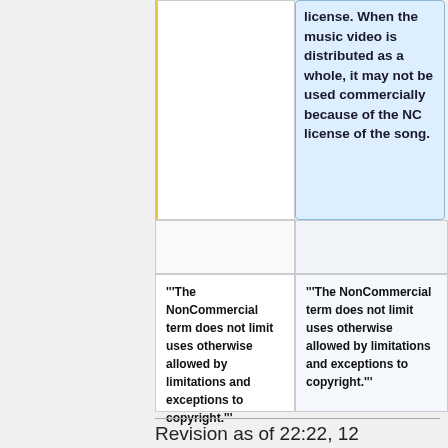license. When the music video is distributed as a whole, it may not be used commercially because of the NC license of the song.
""'The NonCommercial term does not limit uses otherwise allowed by limitations and exceptions to copyright.'""
""'The NonCommercial term does not limit uses otherwise allowed by limitations and exceptions to copyright.'""
Revision as of 22:22, 12